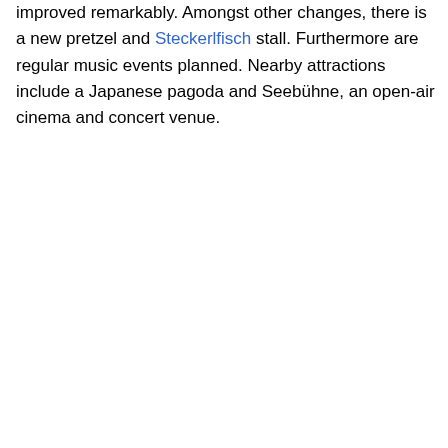improved remarkably. Amongst other changes, there is a new pretzel and Steckerlfisch stall. Furthermore are regular music events planned. Nearby attractions include a Japanese pagoda and Seebühne, an open-air cinema and concert venue.